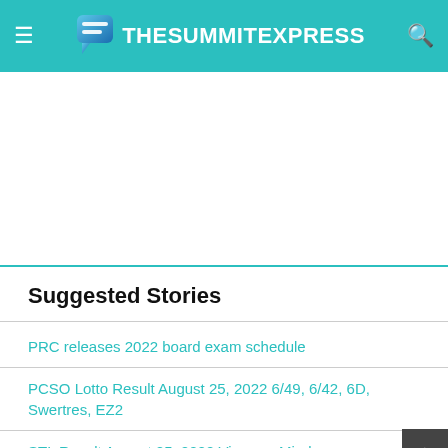TheSummitExpress
[Figure (other): Advertisement/blank white area below header]
Suggested Stories
PRC releases 2022 board exam schedule
PCSO Lotto Result August 25, 2022 6/49, 6/42, 6D, Swertres, EZ2
STL Result August 25, 2022 Visayas, Mindanao
LIST: Philippine Holidays, Long Weekends in 2022